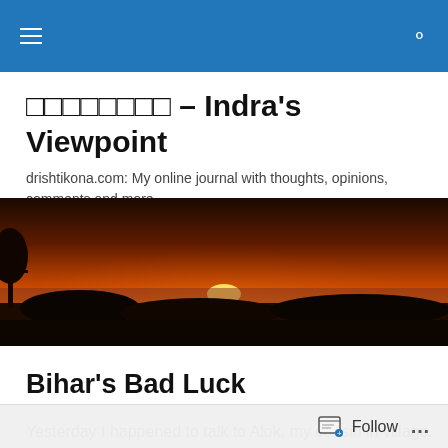Navigation bar with menu and search icons
□□□□□□□□ – Indra's Viewpoint
drishtikona.com: My online journal with thoughts, opinions, comments and more..
[Figure (photo): Wide panoramic sunset photo showing an orange and red sky with the sun just above the horizon, silhouetted trees and landscape in the foreground]
Bihar's Bad Luck
Yesterday I happened to talk to Alok, my cousin in village. I
Follow ...